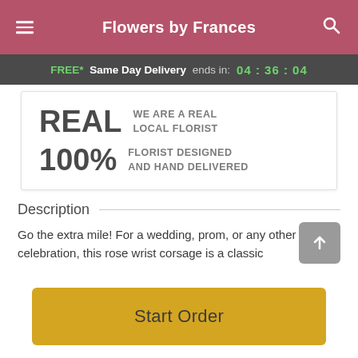Flowers by Frances
FREE* Same Day Delivery ends in: 04 : 36 : 04
REAL  WE ARE A REAL LOCAL FLORIST
100%  FLORIST DESIGNED AND HAND DELIVERED
Description
Go the extra mile! For a wedding, prom, or any other elegant celebration, this rose wrist corsage is a classic
Start Order